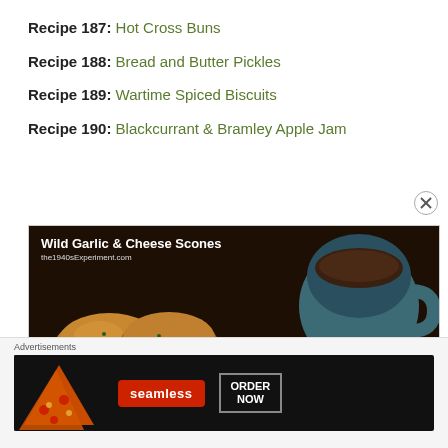Recipe 187: Hot Cross Buns
Recipe 188: Bread and Butter Pickles
Recipe 189: Wartime Spiced Biscuits
Recipe 190: Blackcurrant & Bramley Apple Jam
[Figure (photo): Photo of Wild Garlic & Cheese Scones on a dark background with text overlay 'Wild Garlic & Cheese Scones' and 'the1940sExperiment.com'. A teal cup and saucer appear on the right.]
Advertisements
[Figure (screenshot): Seamless advertisement banner showing pizza slices on the left, a red Seamless logo in the center, and an 'ORDER NOW' button on the right, all on a dark background.]